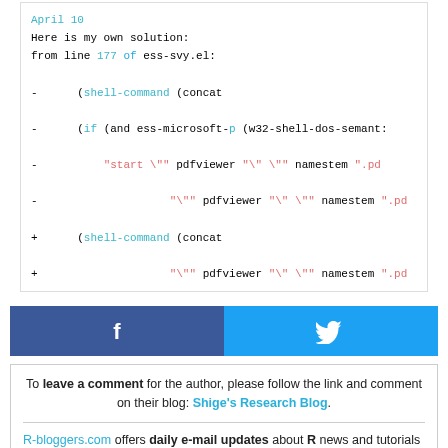April 10
Here is my own solution:
from line 177 of ess-svy.el:
- (shell-command (concat
- (if (and ess-microsoft-p (w32-shell-dos-semant...
- "start \"" pdfviewer "\" \"" namestem ".pd...
- "\"" pdfviewer "\" \"" namestem ".pd...
+ (shell-command (concat
+ "\"" pdfviewer "\" \"" namestem ".pd...
[Figure (other): Facebook and Twitter social share buttons]
To leave a comment for the author, please follow the link and comment on their blog: Shige's Research Blog.

R-bloggers.com offers daily e-mail updates about R news and tutorials about learning R and many other topics. Click here if you're